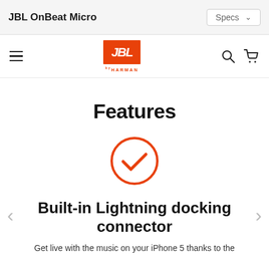JBL OnBeat Micro
[Figure (logo): JBL by HARMAN logo - orange square with white italic JBL text, HARMAN in orange below]
Features
[Figure (illustration): Orange circle checkmark icon]
Built-in Lightning docking connector
Get live with the music on your iPhone 5 thanks to the